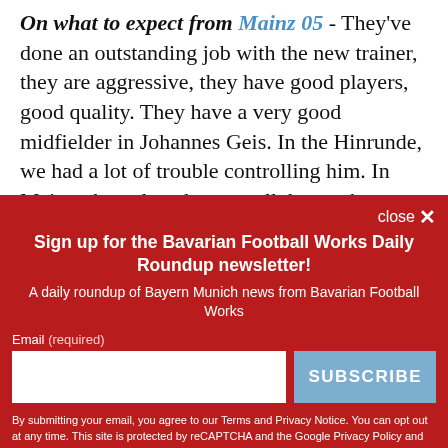On what to expect from Mainz 05 - They've done an outstanding job with the new trainer, they are aggressive, they have good players, good quality. They have a very good midfielder in Johannes Geis. In the Hinrunde, we had a lot of trouble controlling him. In Mainz, they played very well, better than us. We were lucky to win the point.
close ✕
Sign up for the Bavarian Football Works Daily Roundup newsletter!
A daily roundup of Bayern Munich news from Bavarian Football Works
Email (required)
SUBSCRIBE
By submitting your email, you agree to our Terms and Privacy Notice. You can opt out at any time. This site is protected by reCAPTCHA and the Google Privacy Policy and Terms of Service apply.